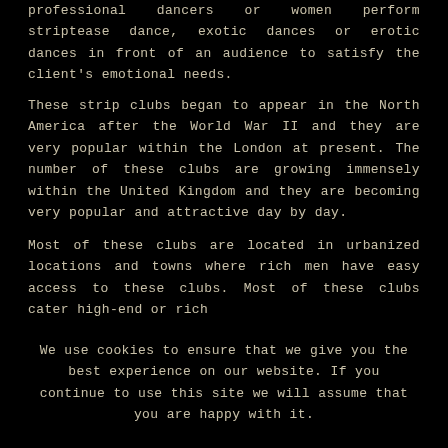professional dancers or women perform striptease dance, exotic dances or erotic dances in front of an audience to satisfy the client's emotional needs.
These strip clubs began to appear in the North America after the World War II and they are very popular within the London at present. The number of these clubs are growing immensely within the United Kingdom and they are becoming very popular and attractive day by day.
Most of these clubs are located in urbanized locations and towns where rich men have easy access to these clubs. Most of these clubs cater high-end or rich
We use cookies to ensure that we give you the best experience on our website. If you continue to use this site we will assume that you are happy with it.
OK